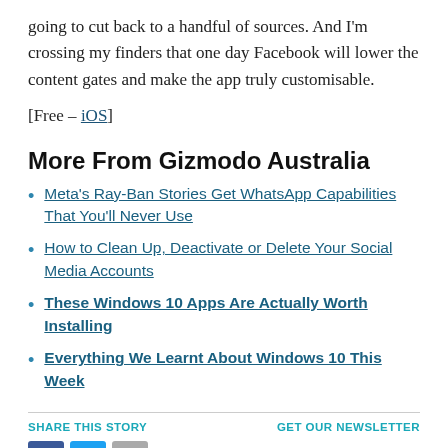going to cut back to a handful of sources. And I'm crossing my finders that one day Facebook will lower the content gates and make the app truly customisable.
[Free – iOS]
More From Gizmodo Australia
Meta's Ray-Ban Stories Get WhatsApp Capabilities That You'll Never Use
How to Clean Up, Deactivate or Delete Your Social Media Accounts
These Windows 10 Apps Are Actually Worth Installing
Everything We Learnt About Windows 10 This Week
SHARE THIS STORY | GET OUR NEWSLETTER | Subscribe